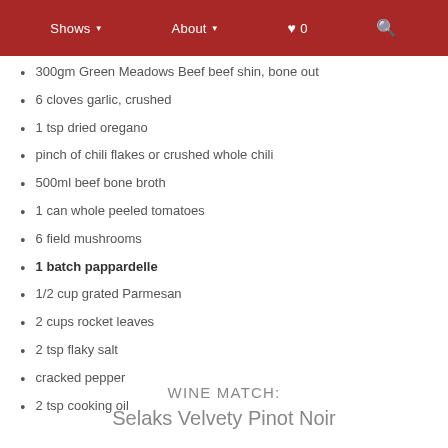Shows ▾   About ▾   ♥ 0   🔍
300gm Green Meadows Beef beef shin, bone out
6 cloves garlic, crushed
1 tsp dried oregano
pinch of chili flakes or crushed whole chili
500ml beef bone broth
1 can whole peeled tomatoes
6 field mushrooms
1 batch pappardelle
1/2 cup grated Parmesan
2 cups rocket leaves
2 tsp flaky salt
cracked pepper
2 tsp cooking oil
WINE MATCH:
Selaks Velvety Pinot Noir